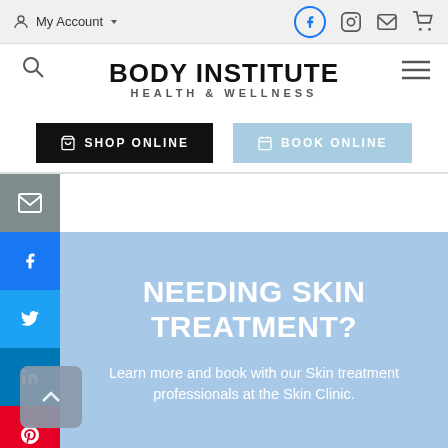My Account | Facebook | Instagram | Email | Cart
BODY INSTITUTE
HEALTH & WELLNESS
SHOP ONLINE
BOOK ONLINE
[Figure (screenshot): Social media share sidebar with Email (grey), Facebook (blue), Twitter (blue), LinkedIn (blue), Pinterest (red) buttons]
NEEDING SKIN TREATMENT?
Learn more and book with our Skin treatment professionals at the Skin Clinic.